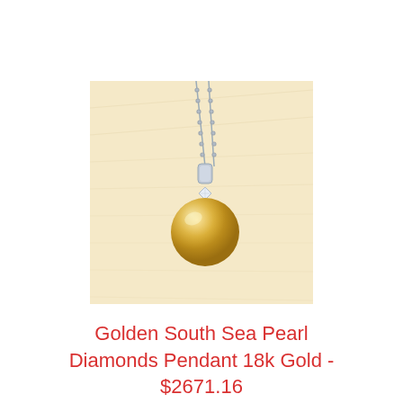[Figure (photo): A golden south sea pearl pendant on a silver chain with a small diamond accent, photographed against a cream/ivory leather background.]
Golden South Sea Pearl Diamonds Pendant 18k Gold - $2671.16